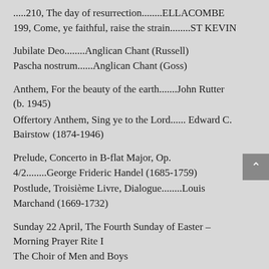.....210, The day of resurrection........ELLACOMBE
199, Come, ye faithful, raise the strain........ST KEVIN
Jubilate Deo........Anglican Chant (Russell)
Pascha nostrum......Anglican Chant (Goss)
Anthem, For the beauty of the earth.......John Rutter (b. 1945)
Offertory Anthem, Sing ye to the Lord...... Edward C. Bairstow (1874-1946)
Prelude, Concerto in B-flat Major, Op. 4/2........George Frideric Handel (1685-1759)
Postlude, Troisième Livre, Dialogue........Louis Marchand (1669-1732)
Sunday 22 April, The Fourth Sunday of Easter – Morning Prayer Rite I
The Choir of Men and Boys
Hymns 179, Welcome, happy